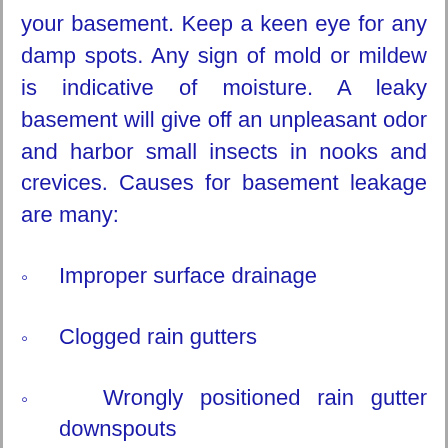your basement. Keep a keen eye for any damp spots. Any sign of mold or mildew is indicative of moisture. A leaky basement will give off an unpleasant odor and harbor small insects in nooks and crevices. Causes for basement leakage are many:
Improper surface drainage
Clogged rain gutters
Wrongly positioned rain gutter downspouts